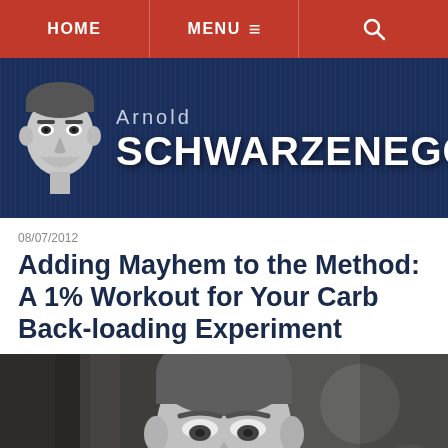HOME | MENU ≡ | 🔍
[Figure (logo): Arnold Schwarzenegger website logo with stylized face illustration on dark navy background. Text reads 'Arnold SCHWARZENEGGER']
08/07/2012
Adding Mayhem to the Method: A 1% Workout for Your Carb Back-loading Experiment
[Figure (photo): Black and white photograph of Arnold Schwarzenegger in athletic tank top, muscular upper body, intense expression, looking down]